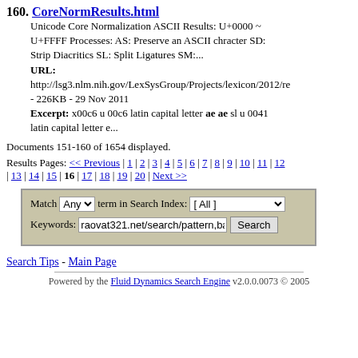160. CoreNormResults.html
Unicode Core Normalization ASCII Results: U+0000 ~ U+FFFF Processes: AS: Preserve an ASCII chracter SD: Strip Diacritics SL: Split Ligatures SM:...
URL: http://lsg3.nlm.nih.gov/LexSysGroup/Projects/lexicon/2012/re - 226KB - 29 Nov 2011
Excerpt: x00c6 u 00c6 latin capital letter ae ae sl u 0041 latin capital letter e...
Documents 151-160 of 1654 displayed.
Results Pages: << Previous | 1 | 2 | 3 | 4 | 5 | 6 | 7 | 8 | 9 | 10 | 11 | 12 | 13 | 14 | 15 | 16 | 17 | 18 | 19 | 20 | Next >>
Match Any term in Search Index: [ All ] Keywords: raovat321.net/search/pattern,bán n Search
Search Tips - Main Page
Powered by the Fluid Dynamics Search Engine v2.0.0.0073 © 2005